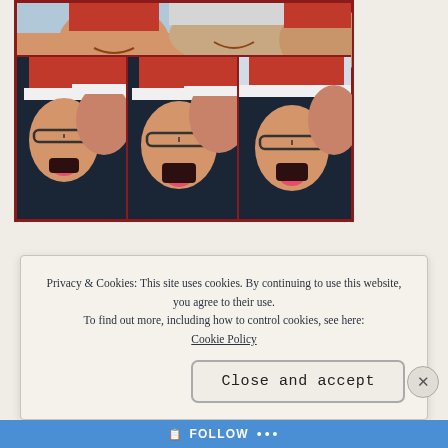[Figure (photo): A photo collage of people wearing red and white Santa hats, making silly faces. Top row shows a wide photo of smiling faces; bottom row has three photos of two women making funny expressions with tongues out, wearing Santa hats and glasses.]
Privacy & Cookies: This site uses cookies. By continuing to use this website, you agree to their use.
To find out more, including how to control cookies, see here:
Cookie Policy
Close and accept
FOLLOW ...